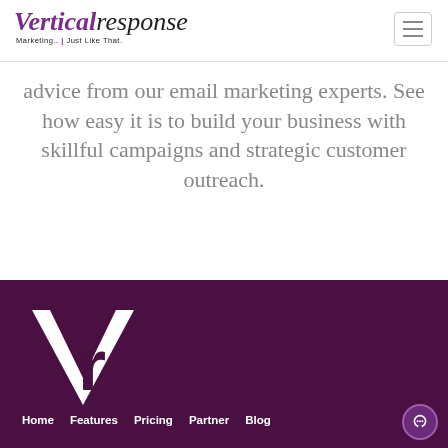VerticalResponse — Marketing. Just Like That.
advice from our email marketing experts. See how easy it is to build your business with skillful campaigns and strategic customer outreach.
[Figure (logo): VerticalResponse white VR monogram logo on dark purple background]
Home   Features   Pricing   Partner   Blog